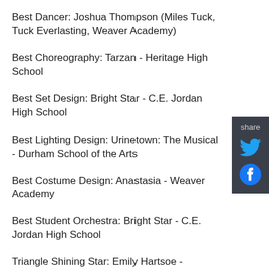Best Dancer: Joshua Thompson (Miles Tuck, Tuck Everlasting, Weaver Academy)
Best Choreography: Tarzan - Heritage High School
Best Set Design: Bright Star - C.E. Jordan High School
Best Lighting Design: Urinetown: The Musical - Durham School of the Arts
Best Costume Design: Anastasia - Weaver Academy
Best Student Orchestra: Bright Star - C.E. Jordan High School
Triangle Shining Star: Emily Hartsoe - Longleaf School of the Arts